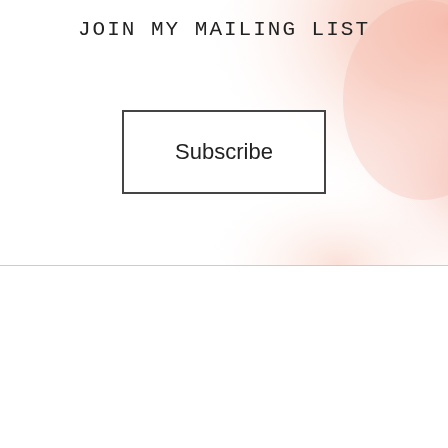JOIN MY MAILING LIST
[Figure (illustration): Pink watercolor splash background in the upper right area of the page]
Subscribe
We use cookies on our website to give you the most relevant experience by remembering your preferences and repeat visits. By clicking “Accept All”, you consent to the use of ALL the cookies. However, you may visit "Cookie Settings" to provide a controlled consent.
Cookie Settings
Accept All